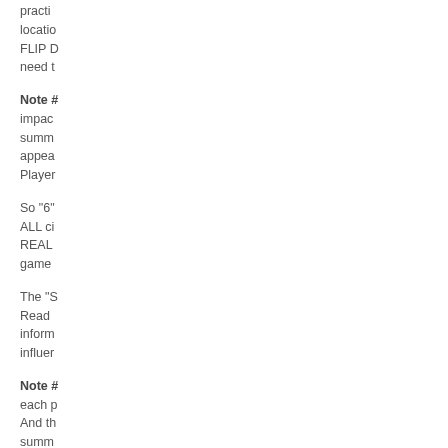practi... locatio... FLIP D... need t...
Note #... impac... summ... appea... Player...
So "6"... ALL ci... REAL... game ...
The "S... Read ... inform... influer...
Note #... each p... And th... summ... END o... trying ... the Se...